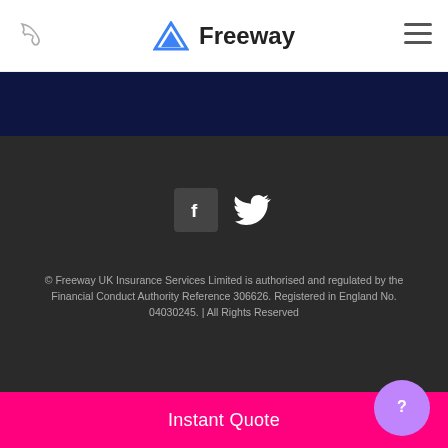[Figure (logo): Freeway insurance logo with blue triangle/arrow icon and text 'Freeway']
[Figure (illustration): Social media icons: Facebook (f) square icon and Twitter bird icon, white on dark grey background]
© Freeway UK Insurance Services Limited is authorised and regulated by the Financial Conduct Authority Reference 306626. Registered in England No. 04030245. | All Rights Reserved
Instant Quote